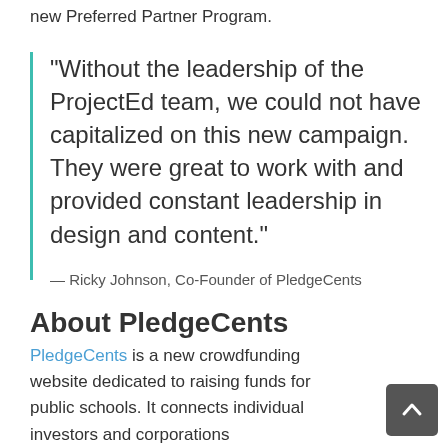new Preferred Partner Program.
“Without the leadership of the ProjectEd team, we could not have capitalized on this new campaign. They were great to work with and provided constant leadership in design and content.”
— Ricky Johnson, Co-Founder of PledgeCents
About PledgeCents
PledgeCents is a new crowdfunding website dedicated to raising funds for public schools. It connects individual investors and corporations